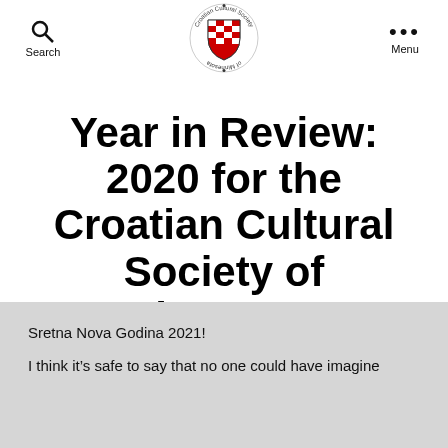Search | Croatian Cultural Society of Minnesota | Menu
Year in Review: 2020 for the Croatian Cultural Society of Minnesota
Sretna Nova Godina 2021!
I think it’s safe to say that no one could have imagine